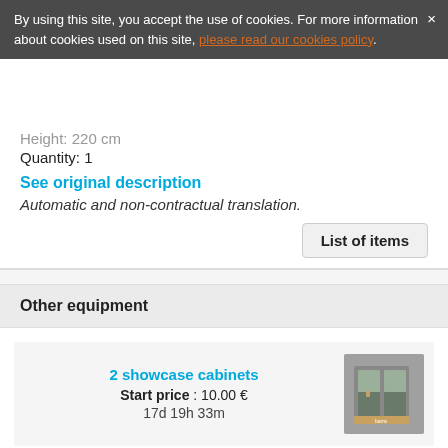By using this site, you accept the use of cookies. For more information about cookies used on this site, please read our cookies policy.
Height: 220 cm
Quantity: 1
See original description
Automatic and non-contractual translation.
List of items
Other equipment
2 showcase cabinets
Start price : 10.00 €
17d 19h 33m
2 displays for magazines and catalogs
Start price : 10.00 €